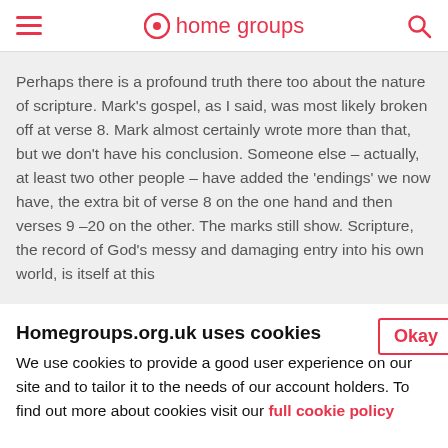home groups
Perhaps there is a profound truth there too about the nature of scripture. Mark's gospel, as I said, was most likely broken off at verse 8. Mark almost certainly wrote more than that, but we don't have his conclusion. Someone else – actually, at least two other people – have added the 'endings' we now have, the extra bit of verse 8 on the one hand and then verses 9 –20 on the other. The marks still show. Scripture, the record of God's messy and damaging entry into his own world, is itself at this
Homegroups.org.uk uses cookies
We use cookies to provide a good user experience on our site and to tailor it to the needs of our account holders. To find out more about cookies visit our full cookie policy